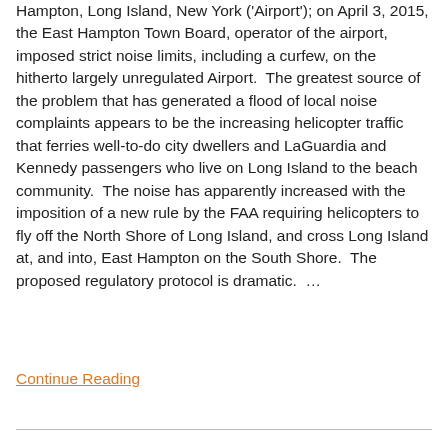Hampton, Long Island, New York ('Airport'); on April 3, 2015, the East Hampton Town Board, operator of the airport, imposed strict noise limits, including a curfew, on the hitherto largely unregulated Airport. The greatest source of the problem that has generated a flood of local noise complaints appears to be the increasing helicopter traffic that ferries well-to-do city dwellers and LaGuardia and Kennedy passengers who live on Long Island to the beach community. The noise has apparently increased with the imposition of a new rule by the FAA requiring helicopters to fly off the North Shore of Long Island, and cross Long Island at, and into, East Hampton on the South Shore. The proposed regulatory protocol is dramatic. …
Continue Reading